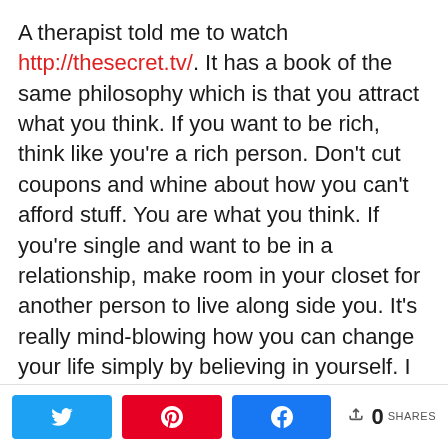A therapist told me to watch http://thesecret.tv/. It has a book of the same philosophy which is that you attract what you think. If you want to be rich, think like you're a rich person. Don't cut coupons and whine about how you can't afford stuff. You are what you think. If you're single and want to be in a relationship, make room in your closet for another person to live along side you. It's really mind-blowing how you can change your life simply by believing in yourself. I love it. I'd have to say that this is my #1 top
Share buttons: Twitter, Pinterest, Facebook | 0 SHARES